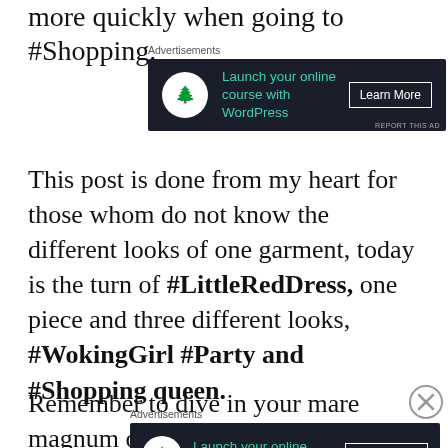more quickly when going to #Shopping.
[Figure (other): Advertisement banner: dark background with bonsai tree icon, text 'Launch your online course with WordPress' and 'Learn More' button]
This post is done from my heart for those whom do not know the different looks of one garment, today is the turn of #LittleRedDress, one piece and three different looks, #WokingGirl #Party and #Shopping queen.
Remember to dive in your mare magnum of
[Figure (other): Advertisement banner: dark background with bonsai tree icon, text 'Launch your online course with WordPress' and 'Learn More' button]